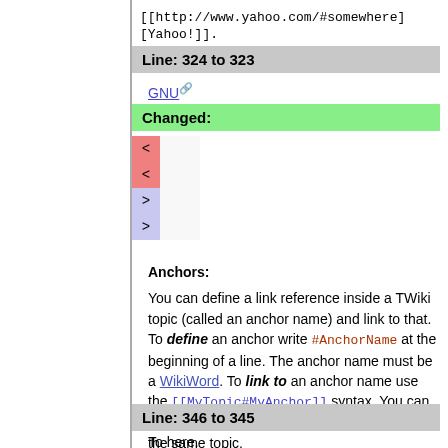[[http://www.yahoo.com/#somewhere][Yahoo!]].
Line: 324 to 323
GNU (external link)
Changed:
< (deleted rows) > (added rows) diff markers
Anchors:
You can define a link reference inside a TWiki topic (called an anchor name) and link to that. To define an anchor write #AnchorName at the beginning of a line. The anchor name must be a WikiWord. To link to an anchor name use the [[MyTopic#MyAnchor]] syntax. You can omit the topic name if you want to link within the same topic.
Line: 346 to 345
To here.